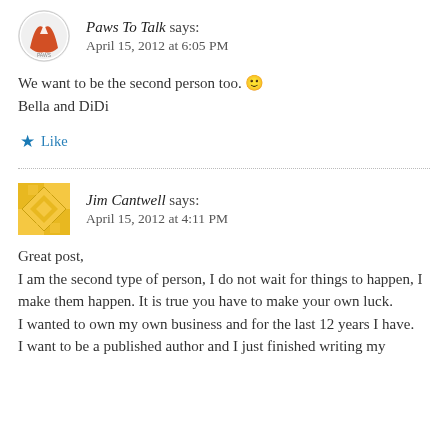[Figure (logo): Paws To Talk circular avatar logo with a cat/dog silhouette]
Paws To Talk says:
April 15, 2012 at 6:05 PM
We want to be the second person too. 🙂
Bella and DiDi
★ Like
[Figure (illustration): Jim Cantwell avatar - yellow geometric pattern square]
Jim Cantwell says:
April 15, 2012 at 4:11 PM
Great post,
I am the second type of person, I do not wait for things to happen, I make them happen. It is true you have to make your own luck.
I wanted to own my own business and for the last 12 years I have.
I want to be a published author and I just finished writing my